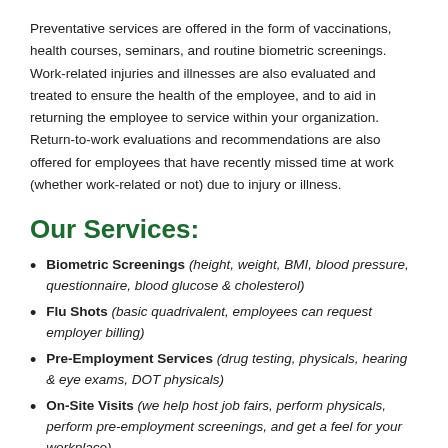Preventative services are offered in the form of vaccinations, health courses, seminars, and routine biometric screenings. Work-related injuries and illnesses are also evaluated and treated to ensure the health of the employee, and to aid in returning the employee to service within your organization. Return-to-work evaluations and recommendations are also offered for employees that have recently missed time at work (whether work-related or not) due to injury or illness.
Our Services:
Biometric Screenings (height, weight, BMI, blood pressure, questionnaire, blood glucose & cholesterol)
Flu Shots (basic quadrivalent, employees can request employer billing)
Pre-Employment Services (drug testing, physicals, hearing & eye exams, DOT physicals)
On-Site Visits (we help host job fairs, perform physicals, perform pre-employment screenings, and get a feel for your workplace)
Post-Accident Care Management (prescribing care, specialist